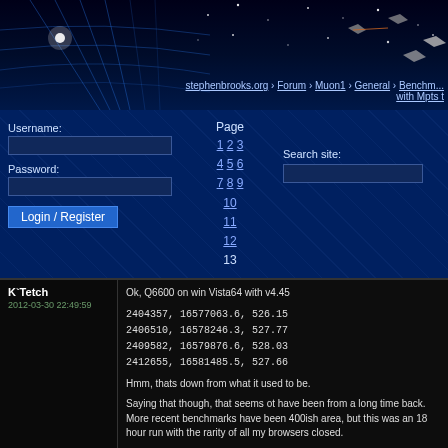[Figure (screenshot): Website banner with space/grid background image for stephenbrooks.org]
stephenbrooks.org › Forum › Muon1 › General › Benchm... with Mpts t
Page
1 2 3
4 5 6
7 8 9
10
11
12
13
Username:
Password:
Login / Register
Search site:
K`Tetch
2012-03-30 22:49:59
Ok, Q6600 on win Vista64 with v4.45

2404357, 16577063.6, 526.15
2406510, 16578246.3, 527.77
2409582, 16579876.6, 528.03
2412655, 16581485.5, 527.66

Hmm, thats down from what it used to be.

Saying that though, that seems ot have been from a long time back.  More recent benchmarks have been 400ish area, but this was an 18 hour run with the rarity of all my browsers closed.

Benching the i3-380m on win7 right now.
K`Tetch
2012-03-31 00:02:34
Oh yeah, i5-2400 on win7, came to 1600kpts/sec (it's drider1969's system, I just 'borrowed it')

it's a 3.1ghz chip, 4 threads (4 cores) ddr3 ram 1333 i think